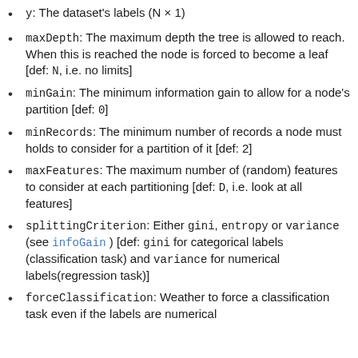y: The dataset's labels (N × 1)
maxDepth: The maximum depth the tree is allowed to reach. When this is reached the node is forced to become a leaf [def: N, i.e. no limits]
minGain: The minimum information gain to allow for a node's partition [def: 0]
minRecords: The minimum number of records a node must holds to consider for a partition of it [def: 2]
maxFeatures: The maximum number of (random) features to consider at each partitioning [def: D, i.e. look at all features]
splittingCriterion: Either gini, entropy or variance (see infoGain ) [def: gini for categorical labels (classification task) and variance for numerical labels(regression task)]
forceClassification: Weather to force a classification task even if the labels are numerical